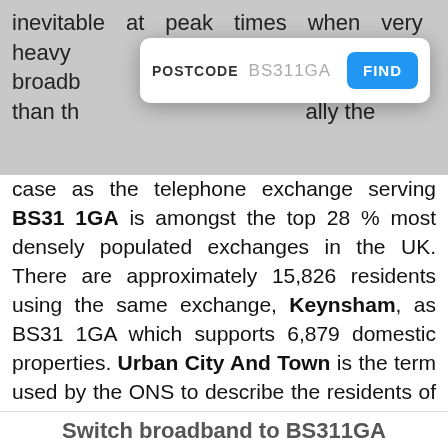inevitable at peak times when very heavy broadband ... dwidth than th... ally the
POSTCODE BS311GA FIND
case as the telephone exchange serving BS31 1GA is amongst the top 28 % most densely populated exchanges in the UK. There are approximately 15,826 residents using the same exchange, Keynsham, as BS31 1GA which supports 6,879 domestic properties. Urban City And Town is the term used by the ONS to describe the residents of BS31 1GA. Do you notice how the traffic is a little bit lighter in the Summer months? Not so many people on the roads as people jet off for their annual break, well the same is often true for broadband traffic. You may notice better performance across the Summer with fewer people vying for the same bandwidth.
Switch broadband to BS311GA